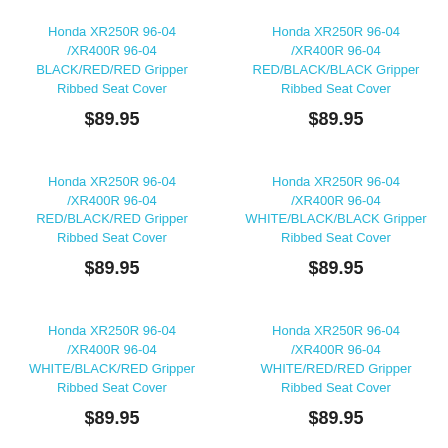Honda XR250R 96-04 /XR400R 96-04 BLACK/RED/RED Gripper Ribbed Seat Cover
$89.95
Honda XR250R 96-04 /XR400R 96-04 RED/BLACK/BLACK Gripper Ribbed Seat Cover
$89.95
Honda XR250R 96-04 /XR400R 96-04 RED/BLACK/RED Gripper Ribbed Seat Cover
$89.95
Honda XR250R 96-04 /XR400R 96-04 WHITE/BLACK/BLACK Gripper Ribbed Seat Cover
$89.95
Honda XR250R 96-04 /XR400R 96-04 WHITE/BLACK/RED Gripper Ribbed Seat Cover
$89.95
Honda XR250R 96-04 /XR400R 96-04 WHITE/RED/RED Gripper Ribbed Seat Cover
$89.95